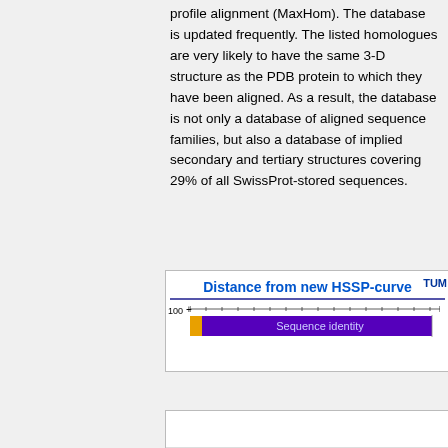profile alignment (MaxHom). The database is updated frequently. The listed homologues are very likely to have the same 3-D structure as the PDB protein to which they have been aligned. As a result, the database is not only a database of aligned sequence families, but also a database of implied secondary and tertiary structures covering 29% of all SwissProt-stored sequences.
[Figure (screenshot): Screenshot of a web tool showing 'Distance from new HSSP-curve' with a TUM logo, a blue horizontal bar labeled 'Sequence identity' with an orange and green arrow indicator at the 100 mark.]
[Figure (screenshot): Partial screenshot of another figure at the bottom of the page, partially visible.]